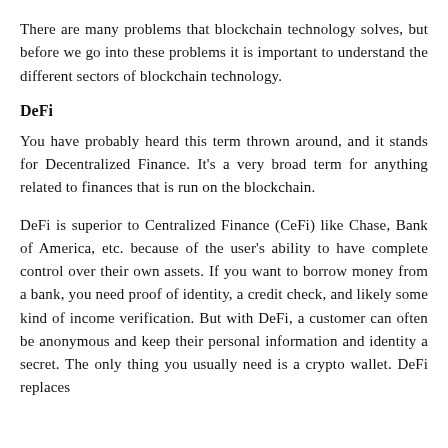There are many problems that blockchain technology solves, but before we go into these problems it is important to understand the different sectors of blockchain technology.
DeFi
You have probably heard this term thrown around, and it stands for Decentralized Finance. It's a very broad term for anything related to finances that is run on the blockchain.
DeFi is superior to Centralized Finance (CeFi) like Chase, Bank of America, etc. because of the user's ability to have complete control over their own assets. If you want to borrow money from a bank, you need proof of identity, a credit check, and likely some kind of income verification. But with DeFi, a customer can often be anonymous and keep their personal information and identity a secret. The only thing you usually need is a crypto wallet. DeFi replaces